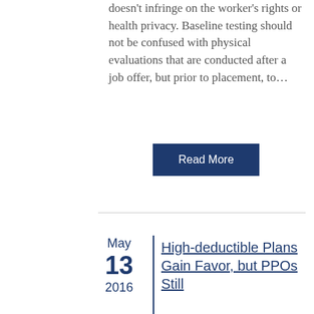doesn't infringe on the worker's rights or health privacy. Baseline testing should not be confused with physical evaluations that are conducted after a job offer, but prior to placement, to…
Read More
High-deductible Plans Gain Favor, but PPOs Still
May 13 2016